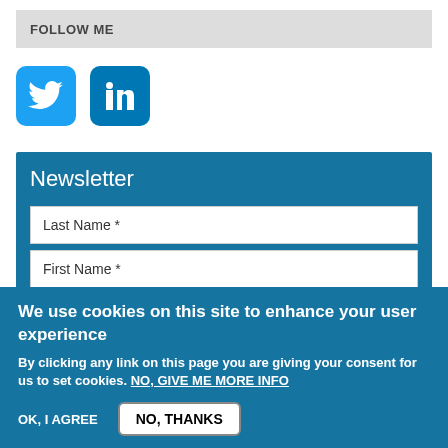FOLLOW ME
[Figure (illustration): Twitter and LinkedIn social media icon buttons]
Newsletter
Last Name *
First Name *
E-mail *
We use cookies on this site to enhance your user experience
By clicking any link on this page you are giving your consent for us to set cookies. NO, GIVE ME MORE INFO
OK, I AGREE
NO, THANKS